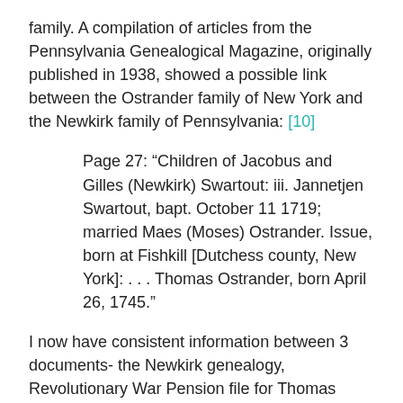family. A compilation of articles from the Pennsylvania Genealogical Magazine, originally published in 1938, showed a possible link between the Ostrander family of New York and the Newkirk family of Pennsylvania: [10]
Page 27: “Children of Jacobus and Gilles (Newkirk) Swartout: iii. Jannetjen Swartout, bapt. October 11 1719; married Maes (Moses) Ostrander. Issue, born at Fishkill [Dutchess county, New York]: . . . Thomas Ostrander, born April 26, 1745.”
I now have consistent information between 3 documents- the Newkirk genealogy, Revolutionary War Pension file for Thomas Ostrander, and the Ostrander genealogy book. But, the question remains: Did Thomas Ostrander ever live in Pennsylvania?